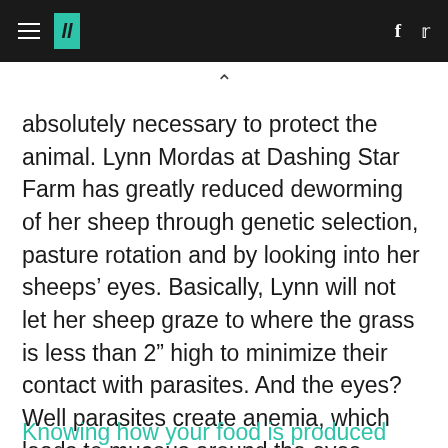HuffPost
absolutely necessary to protect the animal. Lynn Mordas at Dashing Star Farm has greatly reduced deworming of her sheep through genetic selection, pasture rotation and by looking into her sheeps’ eyes. Basically, Lynn will not let her sheep graze to where the grass is less than 2” high to minimize their contact with parasites. And the eyes? Well parasites create anemia, which leads to mucous around the eyes.
Knowing how your food is produced tends to